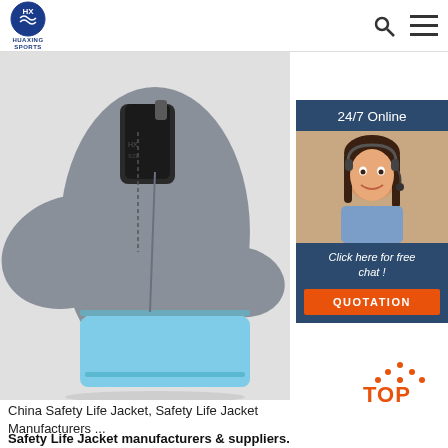HUAXING SPORTS [logo]
[Figure (photo): Photo of a gray and light blue neoprene safety life jacket/vest product, showing the back and side view with fins, against a white background]
[Figure (photo): 24/7 Online chat widget sidebar with a smiling female customer service representative wearing a headset, with 'Click here for free chat!' text and an orange QUOTATION button]
[Figure (other): Orange 'TOP' badge/icon with dots forming a triangle above the text]
China Safety Life Jacket, Safety Life Jacket Manufacturers ...
Safety Life Jacket manufacturers & suppliers. Recommended product from this supplier. EPE